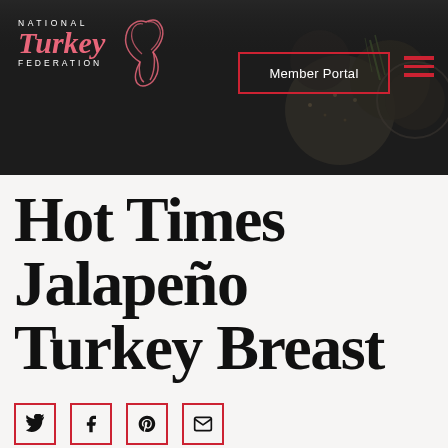[Figure (logo): National Turkey Federation logo with stylized turkey bird graphic and red cursive 'Turkey' text]
Member Portal
Hot Times Jalapeño Turkey Breast
[Figure (other): Social sharing icons: Twitter, Facebook, Pinterest, Email — each in a red-bordered square]